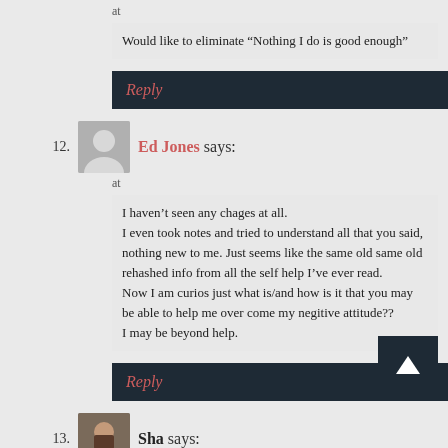at
Would like to eliminate “Nothing I do is good enough”
Reply
12. Ed Jones says:
at
I haven't seen any chages at all.
I even took notes and tried to understand all that you said, nothing new to me. Just seems like the same old same old rehashed info from all the self help I've ever read.
Now I am curios just what is/and how is it that you may be able to help me over come my negitive attitude??
I may be beyond help.
Reply
13. Sha says:
at
I'm just a failure and I'm not deserving are two blocks that are hard to get